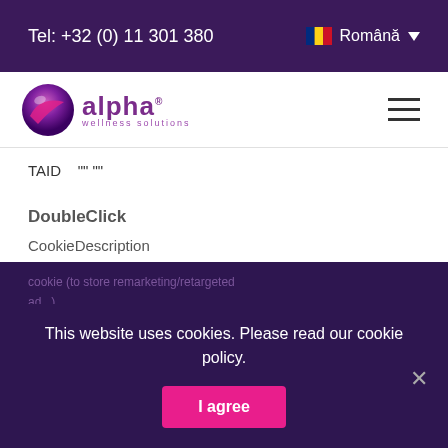Tel: +32 (0) 11 301 380   Română
[Figure (logo): Alpha Wellness Solutions logo with purple sphere and pink swoosh, followed by 'alpha®' text and 'wellness solutions' subtitle]
TAID   "" ""
DoubleClick
CookieDescription
This website uses cookies. Please read our cookie policy.